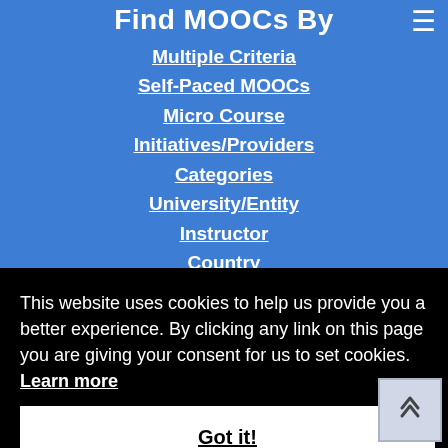Find MOOCs By
Multiple Criteria
Self-Paced MOOCs
Micro Course
Initiatives/Providers
Categories
University/Entity
Instructor
Country
This website uses cookies to help us provide you a better experience. By clicking any link on this page you are giving your consent for us to set cookies. Learn more
Got it!
MOOC stands for a Massive Open Online Course.